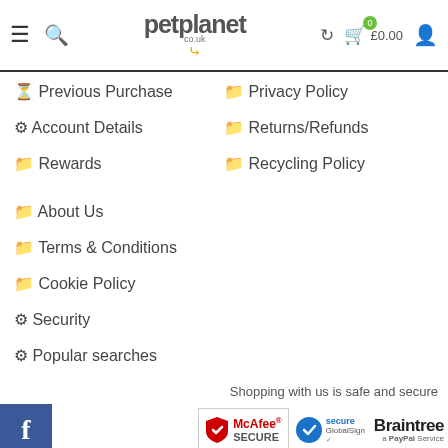petplanet.co.uk header navigation bar with menu, search, logo, refresh, cart £0.00, user icon
Previous Purchase
Privacy Policy
Account Details
Returns/Refunds
Rewards
Recycling Policy
About Us
Terms & Conditions
Cookie Policy
Security
Popular searches
Shopping with us is safe and secure
[Figure (logo): Facebook logo blue square with white f, McAfee SECURE badge, GlobalSign secure badge, Braintree a PayPal Service badge]
Using our site means you agree to the use of cookies on your device. To learn more about how we use cookies and how to disable them please see our cookie policy. Continue